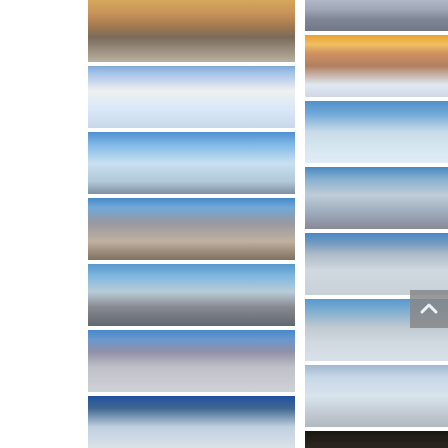[Figure (photo): Mountain landscape with building and rocky terrain at dusk]
[Figure (photo): Snow-capped volcanic mountain peak with building and blue sky]
[Figure (photo): Aerial view of snow-covered volcanic crater with rocky red peak]
[Figure (photo): Mountain summit with distant cloud layer below blue sky]
[Figure (photo): Snowy volcanic mountain peak under clear blue sky]
[Figure (photo): Mountain path in snow with bright sun glare]
[Figure (photo): Snowy landscape at high altitude, dark color]
[Figure (photo): Sunset over sea of clouds from mountain top]
[Figure (photo): Two snow-covered peaks rising above cloud layer, aerial view]
[Figure (photo): Mountain slope with snow and sea of clouds below]
[Figure (photo): Snow-covered mountain ridge under blue sky]
[Figure (photo): Windy snowy mountain scene with blowing snow]
[Figure (photo): Dark mountain landscape at dusk or night]